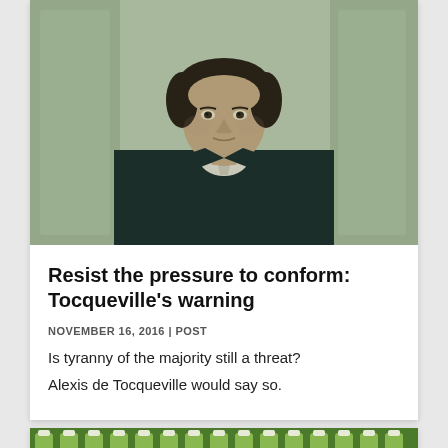[Figure (photo): Portrait painting of Alexis de Tocqueville, a young man with dark curly hair wearing a dark coat and cravat, painted in classical style with muted green/teal background]
Resist the pressure to conform: Tocqueville's warning
NOVEMBER 16, 2016 | POST
Is tyranny of the majority still a threat?
Alexis de Tocqueville would say so.
[Figure (photo): Rows of green and white chess-like pieces or bottles arranged in a grid pattern, partially visible at bottom of page]